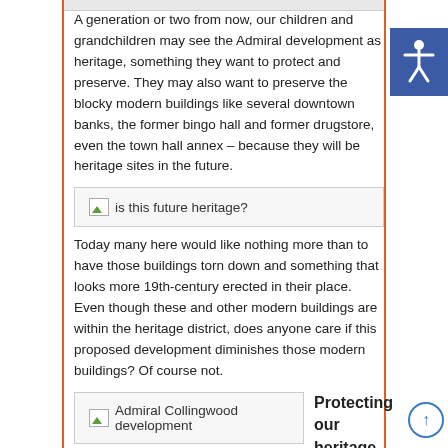A generation or two from now, our children and grandchildren may see the Admiral development as heritage, something they want to protect and preserve. They may also want to preserve the blocky modern buildings like several downtown banks, the former bingo hall and former drugstore, even the town hall annex – because they will be heritage sites in the future.
[Figure (other): Image placeholder labelled 'is this future heritage?']
Today many here would like nothing more than to have those buildings torn down and something that looks more 19th-century erected in their place. Even though these and other modern buildings are within the heritage district, does anyone care if this proposed development diminishes those modern buildings? Of course not.
[Figure (photo): Image placeholder labelled 'Admiral Collingwood development']
Protecting our heritage